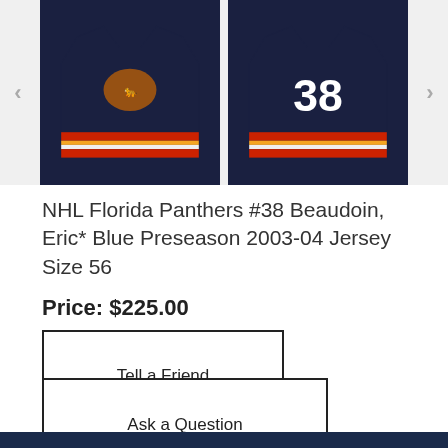[Figure (photo): Two Florida Panthers hockey jerseys on dark background. Left jersey shows the front with Panthers logo, right jersey shows the back with number 38. Navigation arrows on left and right sides.]
NHL Florida Panthers #38 Beaudoin, Eric* Blue Preseason 2003-04 Jersey Size 56
Price: $225.00
Tell a Friend
Ask a Question